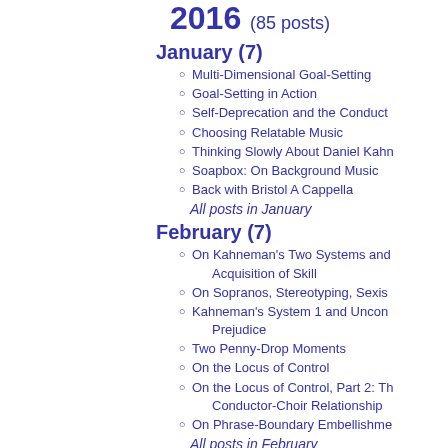2016 (85 posts)
January (7)
Multi-Dimensional Goal-Setting
Goal-Setting in Action
Self-Deprecation and the Conduct…
Choosing Relatable Music
Thinking Slowly About Daniel Kahn…
Soapbox: On Background Music
Back with Bristol A Cappella
All posts in January
February (7)
On Kahneman's Two Systems and… Acquisition of Skill
On Sopranos, Stereotyping, Sexis…
Kahneman's System 1 and Uncon… Prejudice
Two Penny-Drop Moments
On the Locus of Control
On the Locus of Control, Part 2: Th… Conductor-Choir Relationship
On Phrase-Boundary Embellishme…
All posts in February
March (8)
Silver Lining, Melodic Lines
Bristol A Cappella Again
On End-Gaining